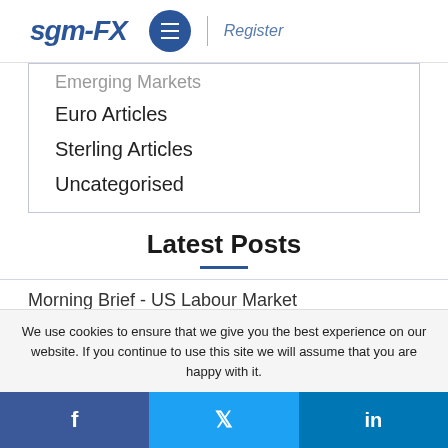sgm-FX  ≡  Register
Emerging Markets
Euro Articles
Sterling Articles
Uncategorised
Latest Posts
Morning Brief - US Labour Market
We use cookies to ensure that we give you the best experience on our website. If you continue to use this site we will assume that you are happy with it.
f  t  in